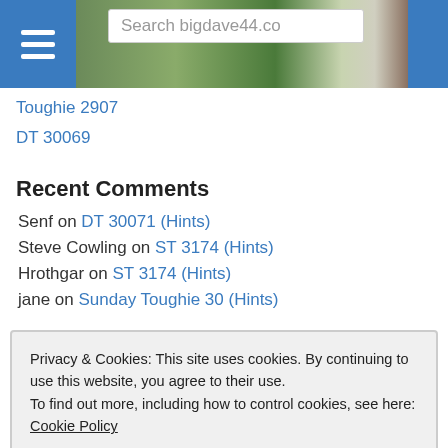Search bigdave44.co
Toughie 2907
DT 30069
Recent Comments
Senf on DT 30071 (Hints)
Steve Cowling on ST 3174 (Hints)
Hrothgar on ST 3174 (Hints)
jane on Sunday Toughie 30 (Hints)
Privacy & Cookies: This site uses cookies. By continuing to use this website, you agree to their use. To find out more, including how to control cookies, see here: Cookie Policy
Jose on ST 3174 (Hints)
Steve Cowling on ST 3174 (Hints)